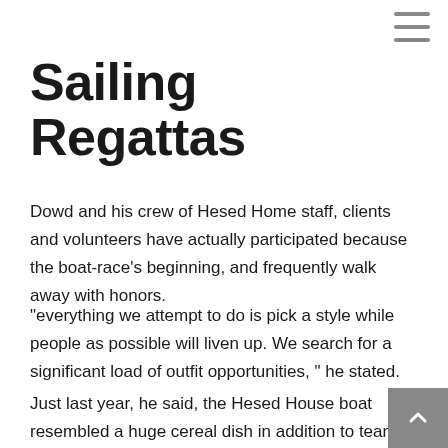Sailing Regattas
Dowd and his crew of Hesed Home staff, clients and volunteers have actually participated because the boat-race's beginning, and frequently walk away with honors.
"everything we attempt to do is pick a style while people as possible will liven up. We search for a significant load of outfit opportunities, " he stated.
Just last year, he said, the Hesed House boat resembled a huge cereal dish in addition to team dressed as cereal commercial characters. In previous years, their group clothed due to the fact Seven Dwarfs while Dowd played the part of